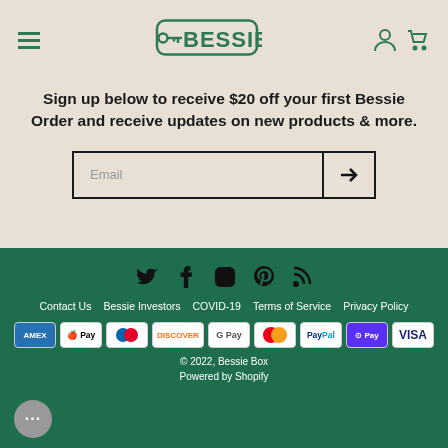[Figure (logo): Bessie Box logo with key icon in green outline style]
Sign up below to receive $20 off your first Bessie Order and receive updates on new products & more.
Email (input field with arrow submit button)
[Figure (infographic): Social media icons: Twitter, Facebook, Instagram, Pinterest, RSS]
Contact Us   Bessie Investors   COVID-19   Terms of Service   Privacy Policy
[Figure (infographic): Payment icons: Amex, Apple Pay, Diners, Discover, Google Pay, Mastercard, PayPal, Shop Pay, Visa]
© 2022, Bessie Box
Powered by Shopify